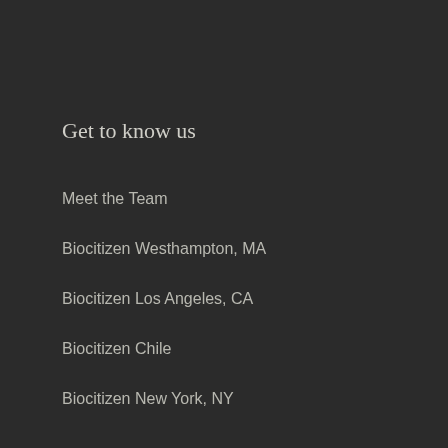Get to know us
Meet the Team
Biocitizen Westhampton, MA
Biocitizen Los Angeles, CA
Biocitizen Chile
Biocitizen New York, NY
More Links
Podcast
Donate>
Conditions of Use
Contact